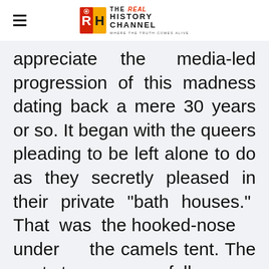THE REAL HISTORY CHANNEL — WHERE THE TRUTH COMES ALIVE
appreciate the media-led progression of this madness dating back a mere 30 years or so. It began with the queers pleading to be left alone to do as they secretly pleased in their private "bath houses." That was the hooked-nose under the camels tent. The next steps were as follows: